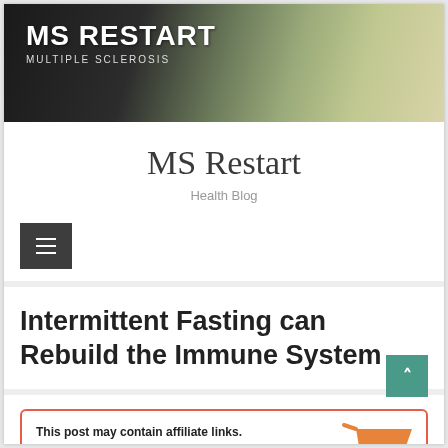[Figure (screenshot): MS Restart website header banner with mountain/landscape background. White bold text reads 'MS RESTART' with subtitle 'MULTIPLE SCLEROSIS' below.]
MS Restart
Health Blog
[Figure (illustration): Dark gray hamburger menu button (three horizontal white lines on dark background)]
Intermittent Fasting can Rebuild the Immune System
This post may contain affiliate links. If you click one of these and make a purchase.